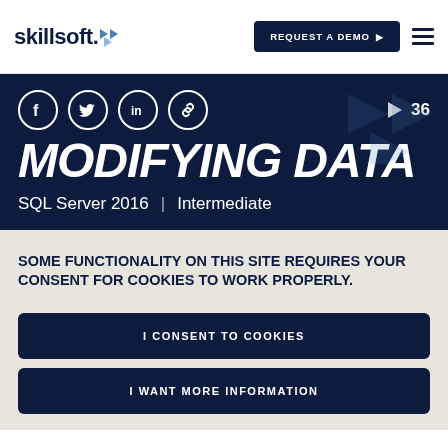skillsoft — REQUEST A DEMO
[Figure (screenshot): Skillsoft course hero banner with social icons, play buttons, like count of 36, large title MODIFYING DATA, and subtitle SQL Server 2016 | Intermediate]
MODIFYING DATA
SQL Server 2016  |  Intermediate
SOME FUNCTIONALITY ON THIS SITE REQUIRES YOUR CONSENT FOR COOKIES TO WORK PROPERLY.
I CONSENT TO COOKIES
I WANT MORE INFORMATION